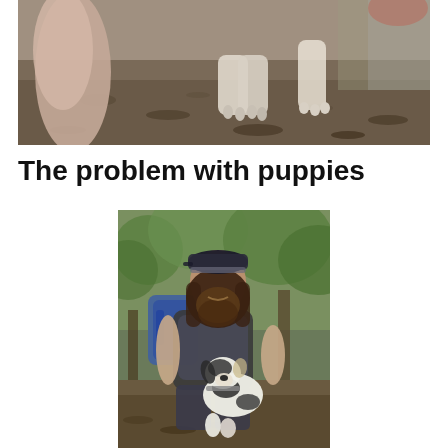[Figure (photo): Close-up photo of a dog's paws and legs on a dirt/leaf-covered ground, outdoor setting]
The problem with puppies
[Figure (photo): A bearded man with long hair wearing a cap and backpack, kneeling and holding a black and white puppy in an outdoor forested area]